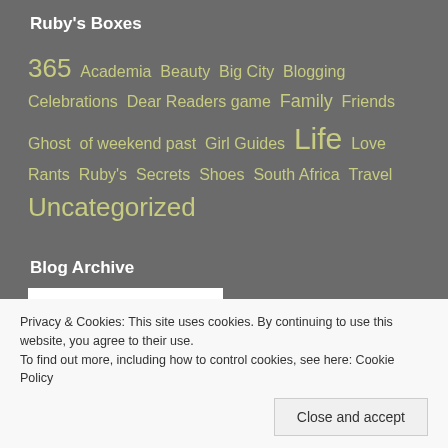Ruby's Boxes
365 Academia Beauty Big City Blogging Celebrations Dear Readers game Family Friends Ghost of weekend past Girl Guides Life Love Rants Ruby's Secrets Shoes South Africa Travel Uncategorized
Blog Archive
[Figure (other): Archive dropdown/input box, white rectangle]
Privacy & Cookies: This site uses cookies. By continuing to use this website, you agree to their use.
To find out more, including how to control cookies, see here: Cookie Policy
Close and accept
[Figure (photo): Two partial photos at the bottom of the page]